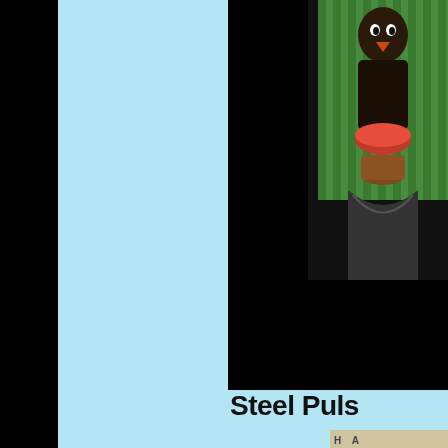[Figure (screenshot): YouTube video thumbnail showing colorful artwork with a 'Watch on YouTube' overlay bar at the bottom. The left portion of the video frame is black, and the right portion shows colorful folk-art style painting with green, red, brown and orange elements.]
Steel Puls
[Figure (photo): Album art thumbnail partially visible, showing 'H A' text at top and a vintage map or artwork in beige/tan tones.]